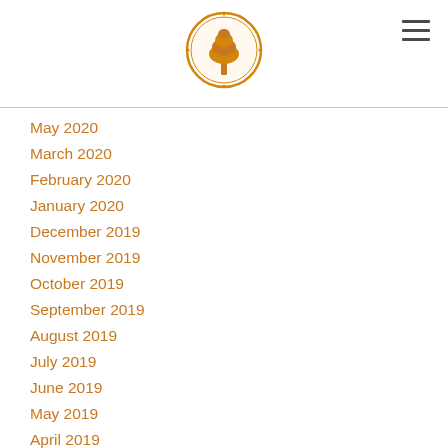Logo and navigation header
May 2020
March 2020
February 2020
January 2020
December 2019
November 2019
October 2019
September 2019
August 2019
July 2019
June 2019
May 2019
April 2019
March 2019
February 2019
December 2018